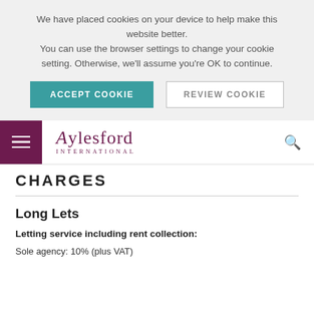We have placed cookies on your device to help make this website better. You can use the browser settings to change your cookie setting. Otherwise, we'll assume you're OK to continue.
ACCEPT COOKIE
REVIEW COOKIE
Aylesford International
CHARGES
Long Lets
Letting service including rent collection:
Sole agency: 10% (plus VAT)